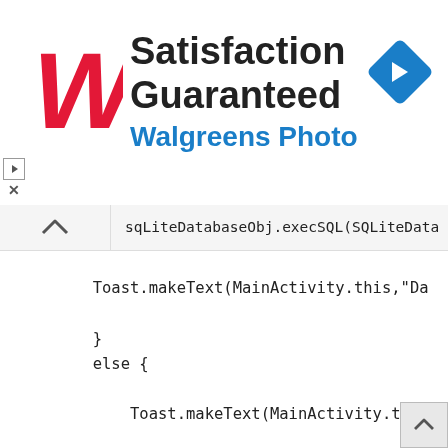[Figure (illustration): Walgreens Photo advertisement banner: Walgreens red cursive W logo, text 'Satisfaction Guaranteed' in bold black, 'Walgreens Photo' in blue, blue diamond navigation arrow icon on the right, play/close controls on left.]
sqLiteDatabaseObj.execSQL(SQLiteData
Toast.makeText(MainActivity.this,"Da
}
else {

    Toast.makeText(MainActivity.this,"Pl

}

}

public void EmptyEditTextAfterDataInsert(){

    editTextName.getText().clear();